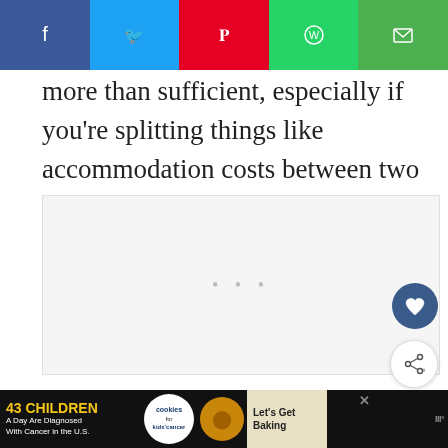[Figure (infographic): Social share bar with five buttons: Facebook (blue), Twitter (light blue), Pinterest (red), WhatsApp (green), Email (green)]
more than sufficient, especially if you're splitting things like accommodation costs between two people.
[Figure (screenshot): Advertisement placeholder zone with three dots, floating heart button (dark blue circle), and share button (white circle)]
[Figure (infographic): Bottom ad banner: '43 CHILDREN A Day Are Diagnosed With Cancer in the U.S.' with cookies for kids' cancer logo and 'Let's Get Baking' text, close button, and brand logo]